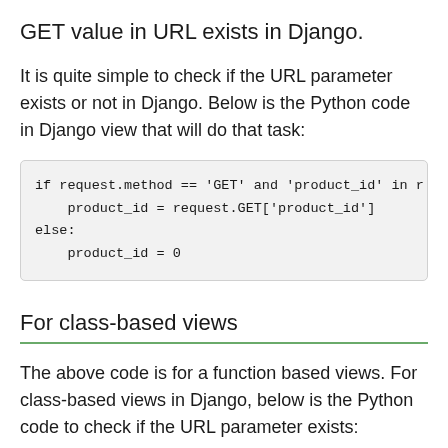GET value in URL exists in Django.
It is quite simple to check if the URL parameter exists or not in Django. Below is the Python code in Django view that will do that task:
if request.method == 'GET' and 'product_id' in r
    product_id = request.GET['product_id']
else:
    product_id = 0
For class-based views
The above code is for a function based views. For class-based views in Django, below is the Python code to check if the URL parameter exists:
def get_context_data(self, **kwargs):